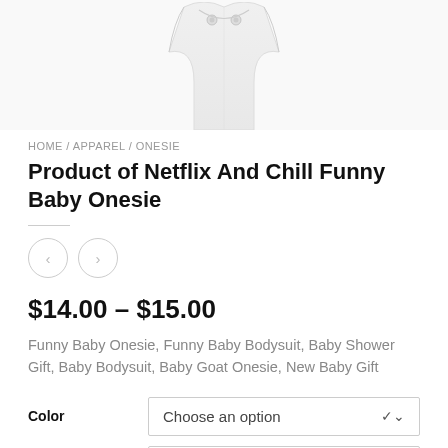[Figure (photo): Partial view of a white baby onesie/bodysuit from above, showing snap buttons at the shoulder area against a light background.]
HOME / APPAREL / ONESIE
Product of Netflix And Chill Funny Baby Onesie
$14.00 – $15.00
Funny Baby Onesie, Funny Baby Bodysuit, Baby Shower Gift, Baby Bodysuit, Baby Goat Onesie, New Baby Gift
Color  Choose an option
Onesie size  Choose an option